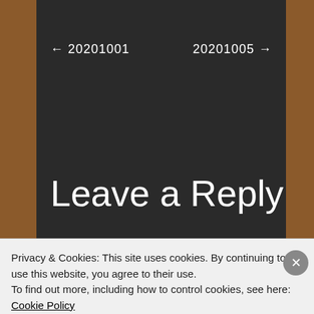← 20201001    20201005 →
Leave a Reply
Your email address will not be published. Required fields are marked*
Commen
Privacy & Cookies: This site uses cookies. By continuing to use this website, you agree to their use.
To find out more, including how to control cookies, see here: Cookie Policy
Close and accept